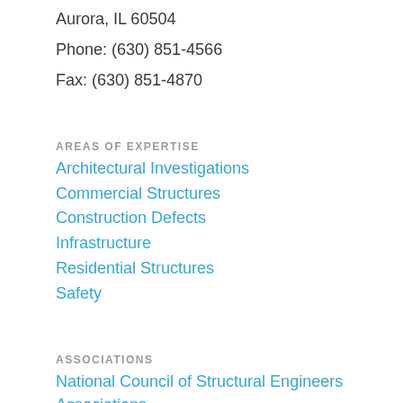Aurora, IL 60504
Phone: (630) 851-4566
Fax: (630) 851-4870
AREAS OF EXPERTISE
Architectural Investigations
Commercial Structures
Construction Defects
Infrastructure
Residential Structures
Safety
ASSOCIATIONS
National Council of Structural Engineers Associations (NCSEA)